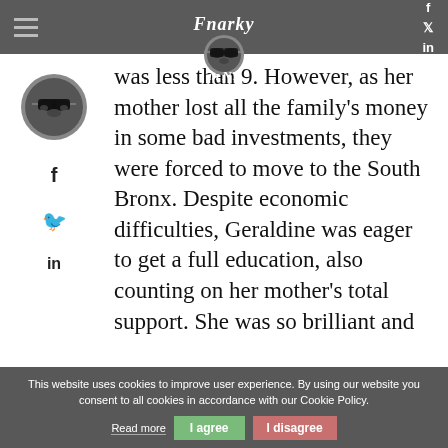Fnarky in NY — navigation bar with hamburger menu and social icons
[Figure (logo): Fnarky in NY logo with gorilla illustration]
was less than 9. However, as her mother lost all the family's money in some bad investments, they were forced to move to the South Bronx. Despite economic difficulties, Geraldine was eager to get a full education, also counting on her mother's total support. She was so brilliant and determined that she attended the Marymount Manhattan College with a scholarship while working two – if not three jobs. In
This website uses cookies to improve user experience. By using our website you consent to all cookies in accordance with our Cookie Policy. | Read more | I agree | I disagree